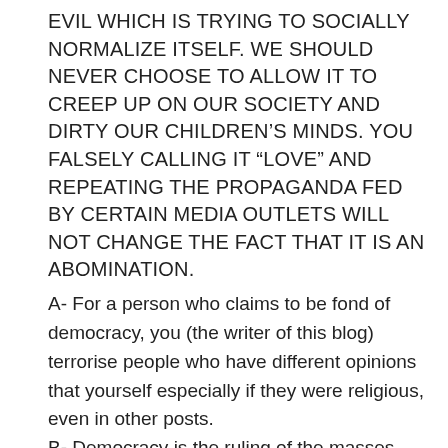EVIL WHICH IS TRYING TO SOCIALLY NORMALIZE ITSELF. WE SHOULD NEVER CHOOSE TO ALLOW IT TO CREEP UP ON OUR SOCIETY AND DIRTY OUR CHILDREN'S MINDS. YOU FALSELY CALLING IT “LOVE” AND REPEATING THE PROPAGANDA FED BY CERTAIN MEDIA OUTLETS WILL NOT CHANGE THE FACT THAT IT IS AN ABOMINATION.
A- For a person who claims to be fond of democracy, you (the writer of this blog) terrorise people who have different opinions that yourself especially if they were religious, even in other posts.
B- Democracy is the ruling of the masses and is a BAD JOKE. Just look at who the average voter